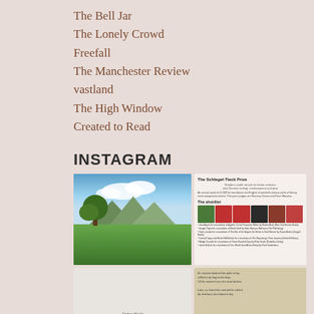The Bell Jar
The Lonely Crowd
Freefall
The Manchester Review
vastland
The High Window
Created to Read
INSTAGRAM
[Figure (photo): Outdoor landscape photo showing green fields, trees, and mountains under a blue sky with clouds]
[Figure (screenshot): Screenshot of The Schlegel-Tieck Prize page showing shortlist information with book covers and nominee details]
[Figure (photo): Photo of a handwritten note with name Debra Field at bottom]
[Figure (photo): Photo of handwritten poem text on paper]